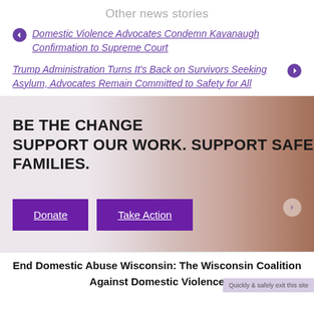Other news stories
Domestic Violence Advocates Condemn Kavanaugh Confirmation to Supreme Court
Trump Administration Turns It's Back on Survivors Seeking Asylum, Advocates Remain Committed to Safety for All
[Figure (photo): Banner with woman's face in background, overlaid with bold text: BE THE CHANGE SUPPORT OUR WORK. SUPPORT SAFE FAMILIES. Two purple buttons: Donate and Take Action.]
End Domestic Abuse Wisconsin: The Wisconsin Coalition Against Domestic Violence